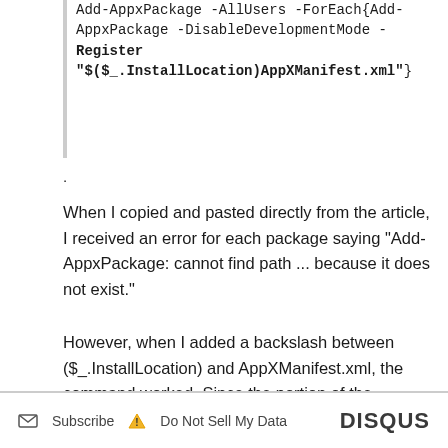Add-AppxPackage -AllUsers -ForEach{Add-AppxPackage -DisableDevelopmentMode -Register "$($_.InstallLocation)AppXManifest.xml"}
.
When I copied and pasted directly from the article, I received an error for each package saying "Add-AppxPackage: cannot find path ... because it does not exist."
However, when I added a backslash between ($_.InstallLocation) and AppXManifest.xml, the command worked. Since the portion of the command after "-Register" is a path pointing towards
see more
↑ | ↓  Reply
Subscribe  Do Not Sell My Data  DISQUS